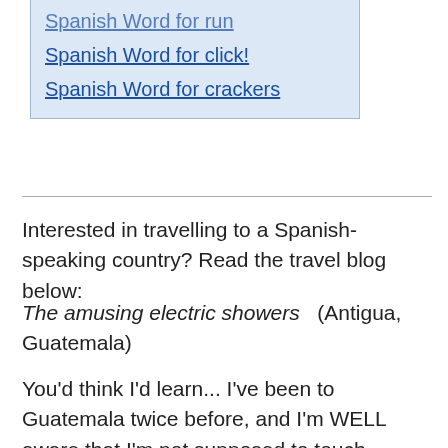Spanish Word for click!
Spanish Word for crackers
Interested in travelling to a Spanish-speaking country? Read the travel blog below:
The amusing electric showers   (Antigua, Guatemala)
You'd think I'd learn... I've been to Guatemala twice before, and I'm WELL aware that I'm not supposed to touch anything metal while in the shower, but every morning I keep electrocuting